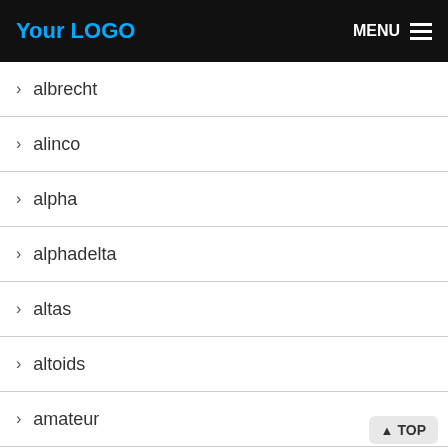Your LOGO | MENU
> albrecht
> alinco
> alpha
> alphadelta
> altas
> altoids
> amateur
> amatuer
> amber
> ameritron
> anan